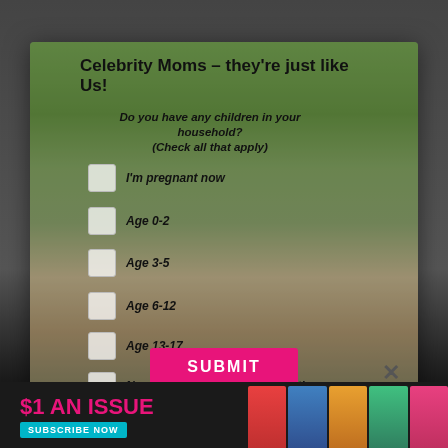[Figure (screenshot): A modal popup over a website page background. The modal shows a woman holding two children outdoors, with a survey form overlaid asking about children in household. Background shows a blurred magazine website.]
Celebrity Moms – they're just like Us!
Do you have any children in your household? (Check all that apply)
I'm pregnant now
Age 0-2
Age 3-5
Age 6-12
Age 13-17
No children currently living with me
SUBMIT
$1 AN ISSUE
SUBSCRIBE NOW